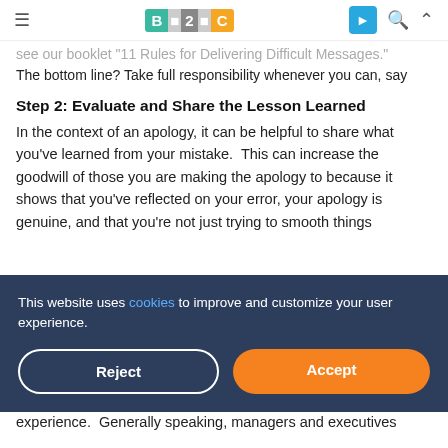B2C logo navigation bar with hamburger menu, B2C logo, send icon, search icon, chevron up icon
see our booklet "11 Rules for Delivering Difficult Messages." The bottom line? Take full responsibility whenever you can, say you are sorry, and then move on to Step 2.
Step 2: Evaluate and Share the Lesson Learned
In the context of an apology, it can be helpful to share what you've learned from your mistake.  This can increase the goodwill of those you are making the apology to because it shows that you've reflected on your error, your apology is genuine, and that you're not just trying to smooth things
This website uses cookies to improve and customize your user experience.
experience. Generally speaking, managers and executives